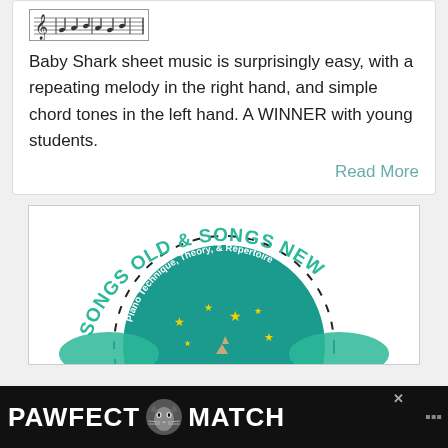[Figure (other): Sheet music thumbnail image showing musical notation]
Baby Shark sheet music is surprisingly easy, with a repeating melody in the right hand, and simple chord tones in the left hand. A WINNER with young students.
Read More
[Figure (logo): Songs Old & Songs New logo - circular design with piano keys, teal background, stars, text reading 'Piano Technique, Theory, & Repertoire']
[Figure (infographic): PAWFECT MATCH advertisement banner with cat image on black background]